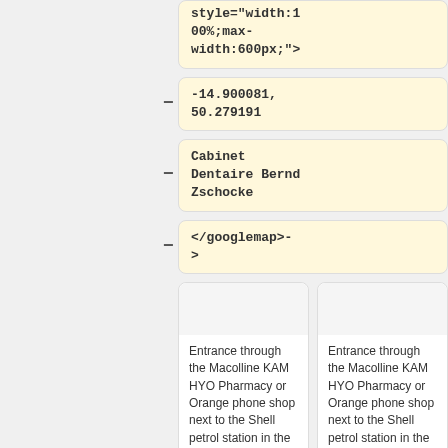style="width:100%;max-width:600px;">
-14.900081, 50.279191
Cabinet Dentaire Bernd Zschocke
</googlemap>->
Entrance through the Macolline KAM HYO Pharmacy or Orange phone shop next to the Shell petrol station in the
Entrance through the Macolline KAM HYO Pharmacy or Orange phone shop next to the Shell petrol station in the centre of